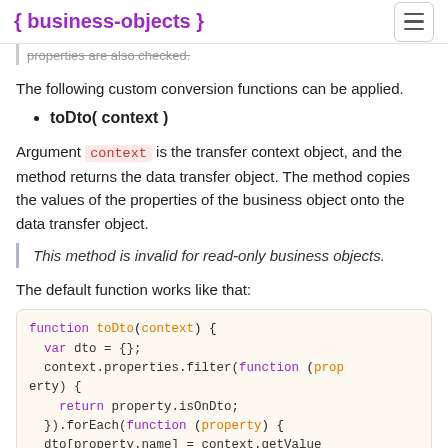{ business-objects }
properties are also checked.
The following custom conversion functions can be applied.
toDto( context )
Argument context is the transfer context object, and the method returns the data transfer object. The method copies the values of the properties of the business object onto the data transfer object.
This method is invalid for read-only business objects.
The default function works like that:
function toDto(context) {
  var dto = {};
  context.properties.filter(function (property) {
    return property.isOnDto;
  }).forEach(function (property) {
    dto[property.name] = context.getValue